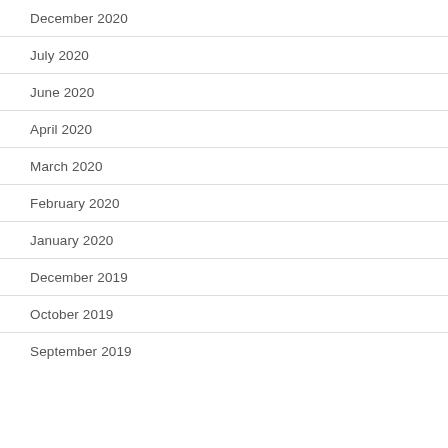December 2020
July 2020
June 2020
April 2020
March 2020
February 2020
January 2020
December 2019
October 2019
September 2019